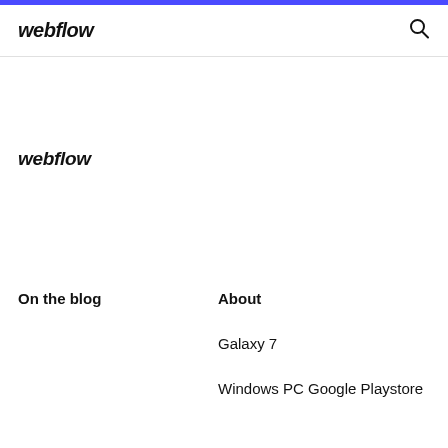webflow
webflow
On the blog
About
Galaxy 7
Windows PC  Google Playstore